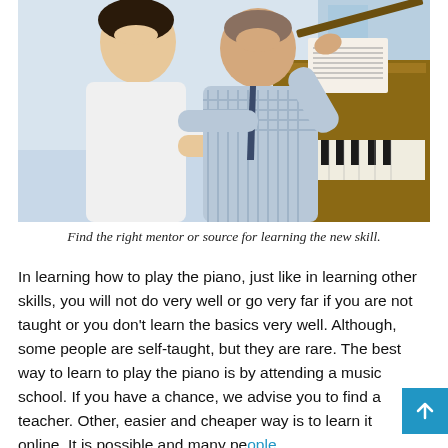[Figure (photo): A music teacher and a student sitting at an upright piano. The student is playing the keys while the teacher points to sheet music on the music stand. Both are smiling. The teacher wears a checked shirt and tie.]
Find the right mentor or source for learning the new skill.
In learning how to play the piano, just like in learning other skills, you will not do very well or go very far if you are not taught or you don't learn the basics very well. Although, some people are self-taught, but they are rare. The best way to learn to play the piano is by attending a music school. If you have a chance, we advise you to find a teacher. Other, easier and cheaper way is to learn it online. It is possible and many people